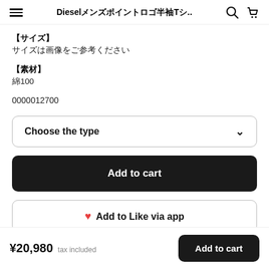Dieselメンズポイントロゴ半袖Tシ..
【サイズ】
サイズは画像をご参考ください
【素材】
綿100
0000012700
Choose the type
Add to cart
♥ Add to Like via app
¥20,980  tax included
Add to cart